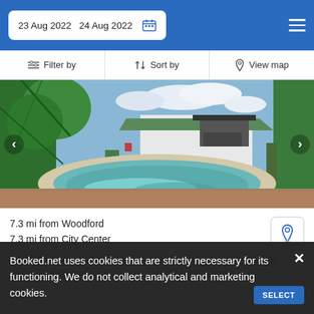23 Aug 2022   24 Aug 2022
Filter by   Sort by   View map
[Figure (photo): Outdoor swimming pool area with tropical greenery and white building with green roof in background]
7.3 mi from Woodford
7.3 mi from City Center
Located within 20 minutes' walk of Dahmongah Lookout Park, this property offers a daily continental breakfast anf feature...
Booked.net uses cookies that are strictly necessary for its functioning. We do not collect analytical and marketing cookies.